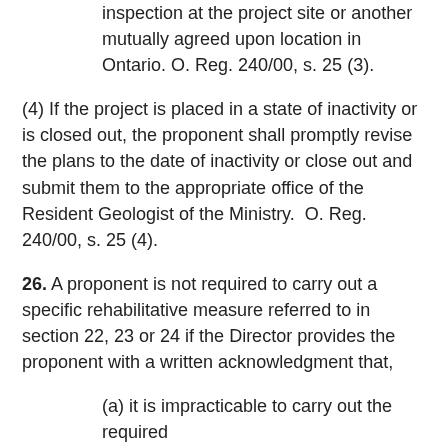inspection at the project site or another mutually agreed upon location in Ontario. O. Reg. 240/00, s. 25 (3).
(4) If the project is placed in a state of inactivity or is closed out, the proponent shall promptly revise the plans to the date of inactivity or close out and submit them to the appropriate office of the Resident Geologist of the Ministry.  O. Reg. 240/00, s. 25 (4).
26. A proponent is not required to carry out a specific rehabilitative measure referred to in section 22, 23 or 24 if the Director provides the proponent with a written acknowledgment that,
(a) it is impracticable to carry out the required